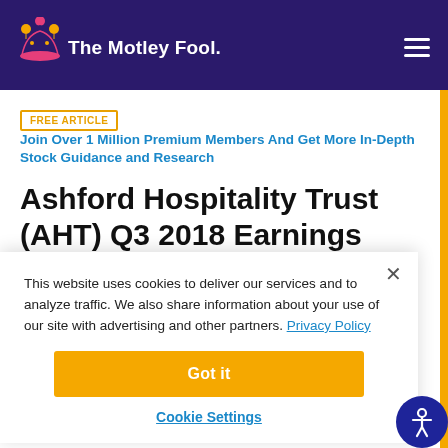The Motley Fool
FREE ARTICLE  Join Over 1 Million Premium Members And Get More In-Depth Stock Guidance and Research
Ashford Hospitality Trust (AHT) Q3 2018 Earnings Conference Call Transcript
This website uses cookies to deliver our services and to analyze traffic. We also share information about your use of our site with advertising and other partners. Privacy Policy
Got it
Cookie Settings